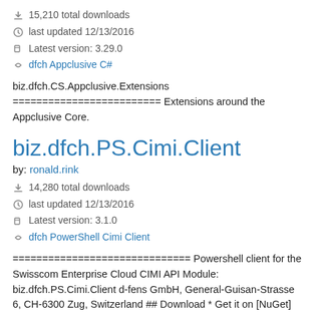15,210 total downloads
last updated 12/13/2016
Latest version: 3.29.0
dfch Appclusive C#
biz.dfch.CS.Appclusive.Extensions ========================= Extensions around the Appclusive Core.
biz.dfch.PS.Cimi.Client
by: ronald.rink
14,280 total downloads
last updated 12/13/2016
Latest version: 3.1.0
dfch PowerShell Cimi Client
============================== Powershell client for the Swisscom Enterprise Cloud CIMI API Module: biz.dfch.PS.Cimi.Client d-fens GmbH, General-Guisan-Strasse 6, CH-6300 Zug, Switzerland ## Download * Get it on [NuGet] (https://www.nuget.org/packages/biz.dfch.PS.Cimi.Client/) *